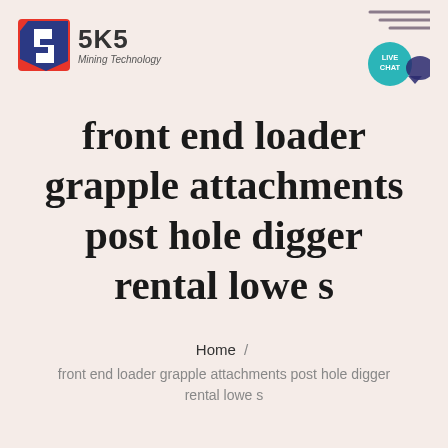[Figure (logo): SKS Mining Technology logo with red/blue shield icon and company name]
[Figure (illustration): Live Chat button icon (teal circle with speech bubble) and decorative lines on the right side of the header]
front end loader grapple attachments post hole digger rental lowe s
Home / front end loader grapple attachments post hole digger rental lowe s